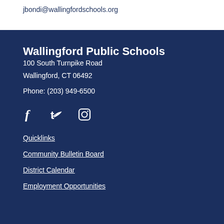jbondi@wallingfordschools.org
Wallingford Public Schools
100 South Turnpike Road
Wallingford, CT 06492
Phone: (203) 949-6500
[Figure (other): Social media icons: Facebook, Twitter, Instagram]
Quicklinks
Community Bulletin Board
District Calendar
Employment Opportunities